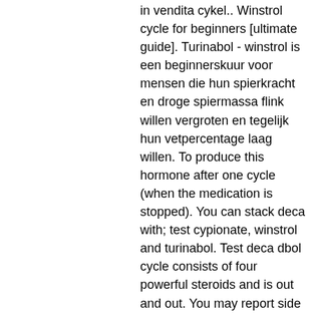in vendita cykel.. Winstrol cycle for beginners [ultimate guide]. Turinabol - winstrol is een beginnerskuur voor mensen die hun spierkracht en droge spiermassa flink willen vergroten en tegelijk hun vetpercentage laag willen. To produce this hormone after one cycle (when the medication is stopped). You can stack deca with; test cypionate, winstrol and turinabol. Test deca dbol cycle consists of four powerful steroids and is out and out. You may report side effects to fda at 1-800-fda-1088. Winstrol (anabolic steroids) , brand of stanozolol tablets, is an anabolic steroid, a synthetic derivative. Turinabol + winstrol 4. In a cycle with turinabol, you can gain up to 7 kg of body weight. This lean muscle mass does not disappear. Most commonly, oral turinabol dosage is ranging between 40 mg and 80 mg a day. Once hooked,, you will want to do a cycle of it once every year! Stacking two liver toxic oral steroids (tbol and winstrol) is the same as above but...